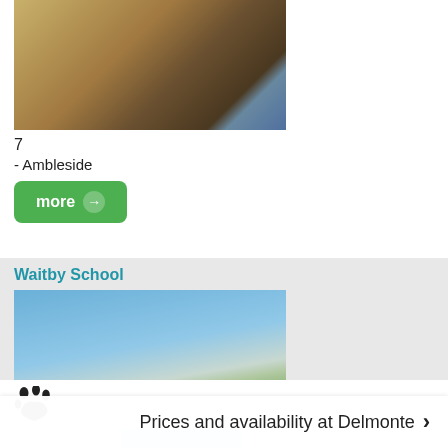[Figure (photo): Interior living/dining room photo of a rental property]
7
- Ambleside
more →
Waitby School
[Figure (photo): Exterior photo of Waitby School cottage with green lawn and blue sky]
7
Kirkby Stephan - Cumbria
more →
[Figure (photo): Paw print icon indicating pet-friendly property]
Wray Green (
[Figure (photo): Partial aerial/landscape photo of Wray Green property]
Prices and availability at Delmonte ›